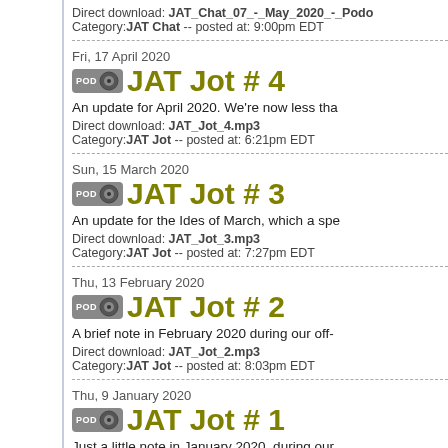Direct download: JAT_Chat_07_-_May_2020_-_Podo
Category: JAT Chat -- posted at: 9:00pm EDT
Fri, 17 April 2020
JAT Jot # 4
An update for April 2020. We're now less tha
Direct download: JAT_Jot_4.mp3
Category: JAT Jot -- posted at: 6:21pm EDT
Sun, 15 March 2020
JAT Jot # 3
An update for the Ides of March, which a spe
Direct download: JAT_Jot_3.mp3
Category: JAT Jot -- posted at: 7:27pm EDT
Thu, 13 February 2020
JAT Jot # 2
A brief note in February 2020 during our off-
Direct download: JAT_Jot_2.mp3
Category: JAT Jot -- posted at: 8:03pm EDT
Thu, 9 January 2020
JAT Jot # 1
Just a little note in January 2020, during our